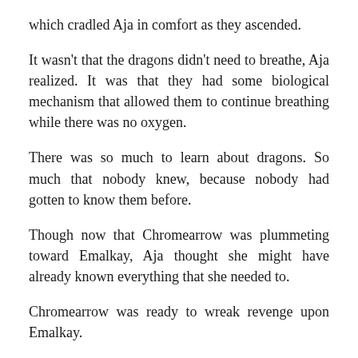which cradled Aja in comfort as they ascended.
It wasn't that the dragons didn't need to breathe, Aja realized. It was that they had some biological mechanism that allowed them to continue breathing while there was no oxygen.
There was so much to learn about dragons. So much that nobody knew, because nobody had gotten to know them before.
Though now that Chromearrow was plummeting toward Emalkay, Aja thought she might have already known everything that she needed to.
Chromearrow was ready to wreak revenge upon Emalkay.
“You can’t,” Aja said, wrapping her hands around the firm ridge on Chromearrow’s neck. Just as she could breathe when in contact with the dragonet, she could speak too, th